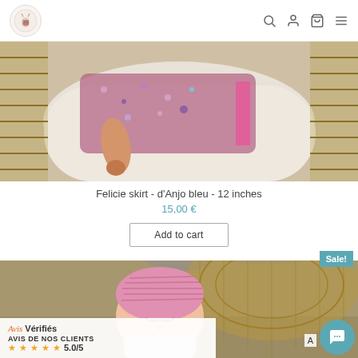La Pelucherie navigation header with logo and icons
[Figure (photo): Doll in floral dress lying in a wicker bassinet, close-up of legs and colorful skirt on white lining]
Felicie skirt - d'Anjo bleu - 12 inches
15,00 €
Add to cart
Sale!
[Figure (photo): Baby doll wearing a pink knit bonnet, sleeping, in a wicker basket on sandy background]
Avis Vérifiés — AVIS DE NOS CLIENTS ★★★★★ 5.0/5